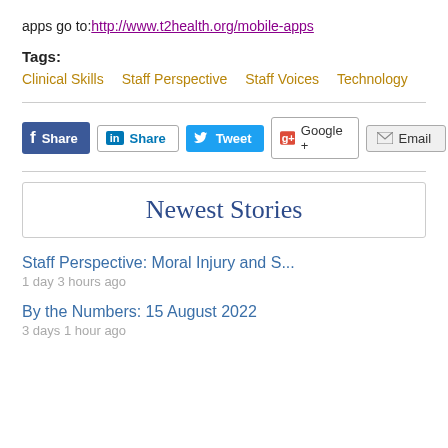apps go to: http://www.t2health.org/mobile-apps
Tags:
Clinical Skills
Staff Perspective
Staff Voices
Technology
[Figure (other): Social sharing buttons: Facebook Share, LinkedIn Share, Twitter Tweet, Google+, Email]
Newest Stories
Staff Perspective: Moral Injury and S...
1 day 3 hours ago
By the Numbers: 15 August 2022
3 days 1 hour ago